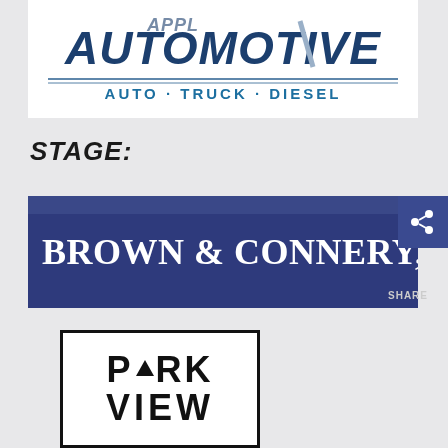[Figure (logo): Automotive company logo — stylized text reading 'AUTOMOTIVE' with 'AUTO · TRUCK · DIESEL' below, in dark blue and teal colors on white background]
STAGE:
[Figure (logo): Dark navy blue banner logo reading 'BROWN & CONNERY, LL' (partially visible) in white serif bold text with share icon on right side and 'SHARE' label]
[Figure (logo): ParkView logo — bold black text 'PARK VIEW' inside a rectangular border, with an upward arrow replacing the 'A' in PARK]